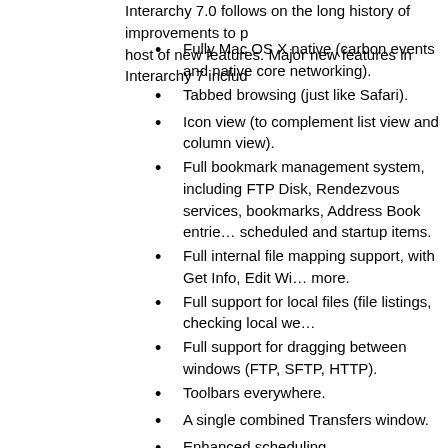Interarchy 7.0 follows on the long history of improvements to p… host of new features. Major new features in Interarchy 7 includ…
Fully Mac OS X native (carbon events and native core networking).
Tabbed browsing (just like Safari).
Icon view (to complement list view and column view).
Full bookmark management system, including FTP Disk, Rendezvous services, bookmarks, Address Book entries, scheduled and startup items.
Full internal file mapping support, with Get Info, Edit Wi… more.
Full support for local files (file listings, checking local we…
Full support for dragging between windows (FTP, SFTP, HTTP).
Toolbars everywhere.
A single combined Transfers window.
Enhanced scheduling.
Enhanced Check Web Site including options, local sites warnings.
Enhanced mirroring with progress reporting.
History menu showing recent actions.
Combined Network Host Info with Ping, DNS, MX, and m… information.
Full network traffic watching with detailed packet display…